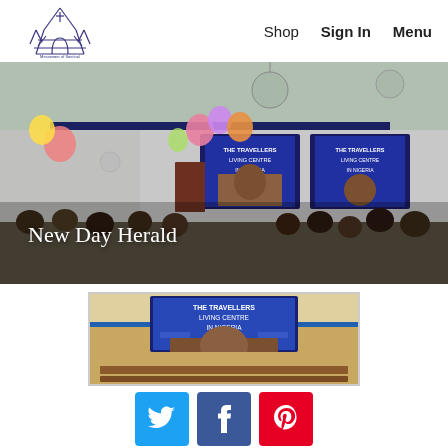[Figure (logo): Website logo with church/cathedral icon in dark blue/purple]
Shop   Sign In   Menu
[Figure (photo): Indoor gathering/church event with people seated, colorful balloons, banners on wall reading about Living Centre in Nigeria]
New Day Herald
[Figure (photo): Close-up photo of church interior showing a banner reading THE TRAVELLERS LIVING CENTRE IN NIGERIA above an altar area]
[Figure (other): Social share buttons: Twitter (blue), Facebook (dark blue), Pinterest (red)]